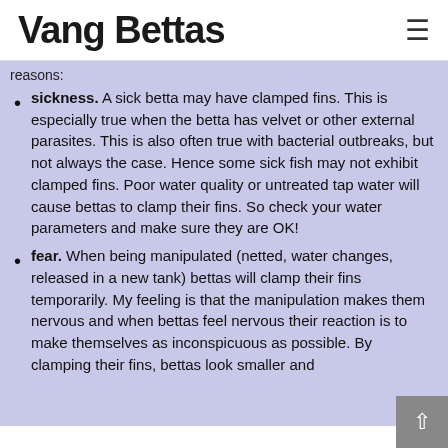Vang Bettas
reasons:
sickness. A sick betta may have clamped fins. This is especially true when the betta has velvet or other external parasites. This is also often true with bacterial outbreaks, but not always the case. Hence some sick fish may not exhibit clamped fins. Poor water quality or untreated tap water will cause bettas to clamp their fins. So check your water parameters and make sure they are OK!
fear. When being manipulated (netted, water changes, released in a new tank) bettas will clamp their fins temporarily. My feeling is that the manipulation makes them nervous and when bettas feel nervous their reaction is to make themselves as inconspicuous as possible. By clamping their fins, bettas look smaller and